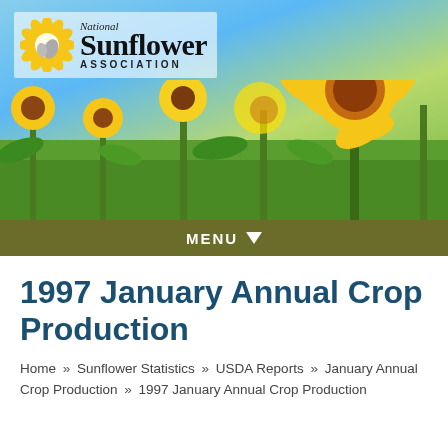[Figure (photo): National Sunflower Association banner image with sunflower field background and blue sky. Logo with stylized sunflower icon, text 'National Sunflower Association', and an olive-colored MENU bar at the bottom.]
1997 January Annual Crop Production
Home » Sunflower Statistics » USDA Reports » January Annual Crop Production » 1997 January Annual Crop Production